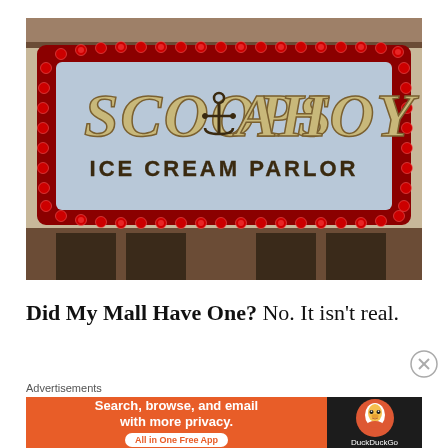[Figure (photo): Photo of the Scoops Ahoy Ice Cream Parlor sign — a marquee-style sign with red border lights, reading 'SCOOPS AHOY ICE CREAM PARLOR' in large retro lettering with an anchor symbol, from the Netflix show Stranger Things.]
Did My Mall Have One? No. It isn't real.
Advertisements
[Figure (other): DuckDuckGo advertisement banner: orange background with text 'Search, browse, and email with more privacy. All in One Free App' and DuckDuckGo duck logo on dark right panel.]